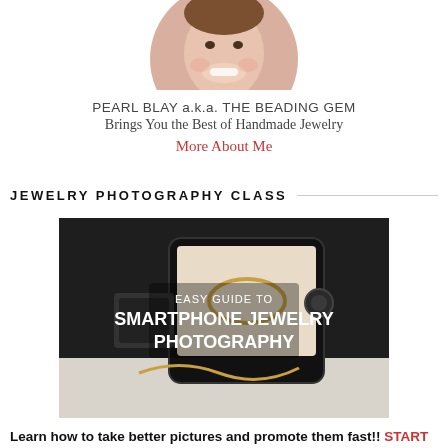[Figure (photo): Circular profile photo of Pearl Blay (a smiling young child), cropped to show top portion of face, centered at top of page]
PEARL BLAY a.k.a. THE BEADING GEM
Brings You the Best of Handmade Jewelry
More About Me
JEWELRY PHOTOGRAPHY CLASS
[Figure (photo): Rectangular promotional image for smartphone jewelry photography course. Dark background showing a smartphone mounted on a camera accessory with a gold bracelet in the foreground. Overlaid text reads: EASY GUIDE TO / SMARTPHONE JEWELRY / PHOTOGRAPHY]
Learn how to take better pictures and promote them fast!! START MY ONLINE COURSE TODAY! Never waste time